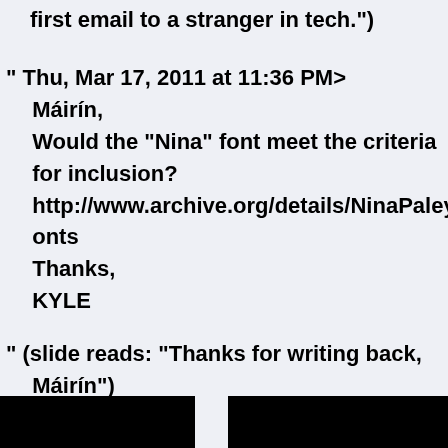first email to a stranger in tech.")
“ Thu, Mar 17, 2011 at 11:36 PM>
Máirín,
Would the “Nina” font meet the criteria for inclusion?
http://www.archive.org/details/NinaPaleyFonts
Thanks,
KYLE
“ (slide reads: “Thanks for writing back, Máirín”)
[Figure (photo): Two black rectangular image blocks at the bottom of the page side by side]